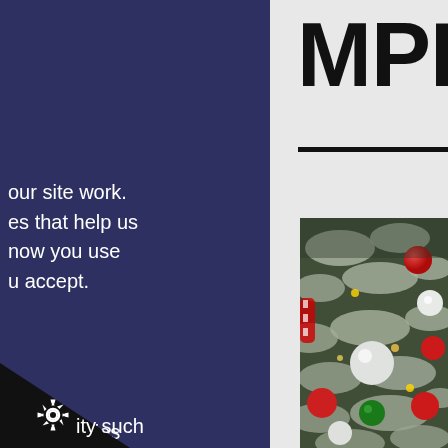MPLOY
[Figure (photo): Close-up photograph of a snow-flocked Christmas tree decorated with red, white, and green ornaments, candy cane striped balls, and gold accents, photographed indoors against a dark background]
our site work. es that help us now you use u accept.
t the cookies
l cookies
ity such